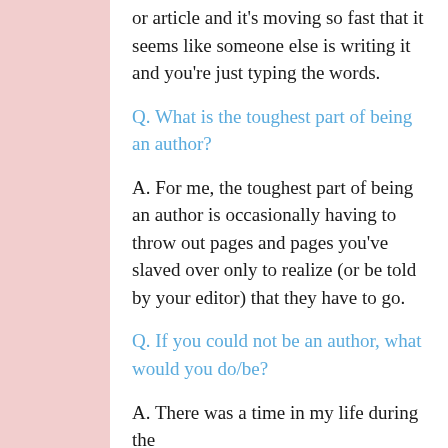or article and it’s moving so fast that it seems like someone else is writing it and you’re just typing the words.
Q. What is the toughest part of being an author?
A. For me, the toughest part of being an author is occasionally having to throw out pages and pages you’ve slaved over only to realize (or be told by your editor) that they have to go.
Q. If you could not be an author, what would you do/be?
A. There was a time in my life during the